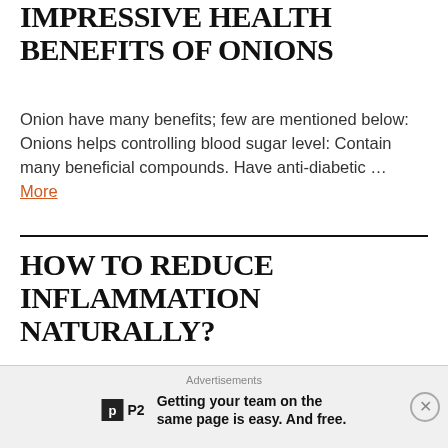IMPRESSIVE HEALTH BENEFITS OF ONIONS
Onion have many benefits; few are mentioned below: Onions helps controlling blood sugar level: Contain many beneficial compounds. Have anti-diabetic … More
HOW TO REDUCE INFLAMMATION NATURALLY?
In this topic, I will tell you about: WHAT IS
Advertisements
Getting your team on the same page is easy. And free.